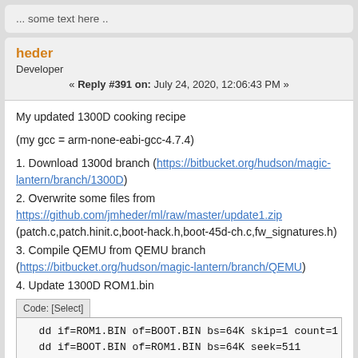... some text here ..
heder
Developer
« Reply #391 on: July 24, 2020, 12:06:43 PM »
My updated 1300D cooking recipe
(my gcc = arm-none-eabi-gcc-4.7.4)
1. Download 1300d branch (https://bitbucket.org/hudson/magic-lantern/branch/1300D)
2. Overwrite some files from https://github.com/jmheder/ml/raw/master/update1.zip (patch.c,patch.hinit.c,boot-hack.h,boot-45d-ch.c,fw_signatures.h)
3. Compile QEMU from QEMU branch (https://bitbucket.org/hudson/magic-lantern/branch/QEMU)
4. Update 1300D ROM1.bin
Code: [Select]
5. Update 1300D ROM0.bin (ROM0.bin = garbage, better use empty ROM0.bin)
Code: [Select]